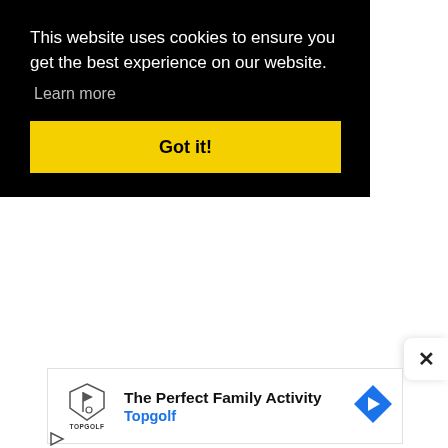This website uses cookies to ensure you get the best experience on our website.
Learn more
Got it!
[Figure (screenshot): Cookie consent banner with black background, yellow 'Got it!' button, and a Topgolf advertisement banner at the bottom with a close button.]